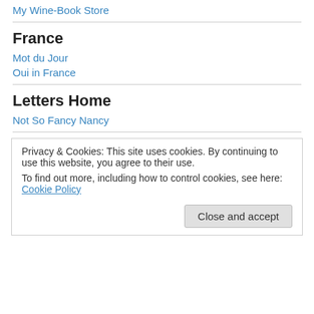My Wine-Book Store
France
Mot du Jour
Oui in France
Letters Home
Not So Fancy Nancy
Privacy & Cookies: This site uses cookies. By continuing to use this website, you agree to their use.
To find out more, including how to control cookies, see here: Cookie Policy
Close and accept